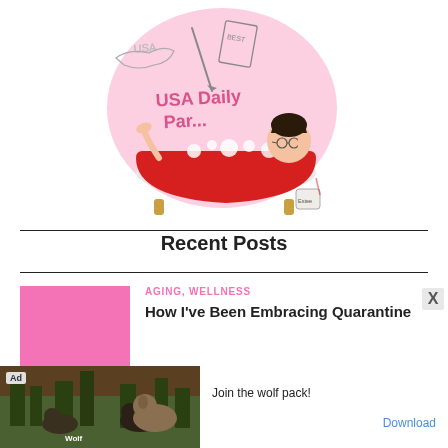[Figure (illustration): Cartoon illustration of a blog logo: a woman with dark hair and glasses sitting in a red claw-foot bathtub with bubbles, with a US map outline, a book labeled 'BEST', and an Estee Lauder cream jar visible. Pink background circle. Text reads 'USA Daily Par...']
Recent Posts
[Figure (photo): Pink rectangle thumbnail placeholder for blog post image]
AGING, WELLNESS
How I've Been Embracing Quarantine
[Figure (photo): Advertisement banner showing wolves in nature with text 'Join the wolf pack!' and a 'Download' button. Ad badge shown. Close X button visible.]